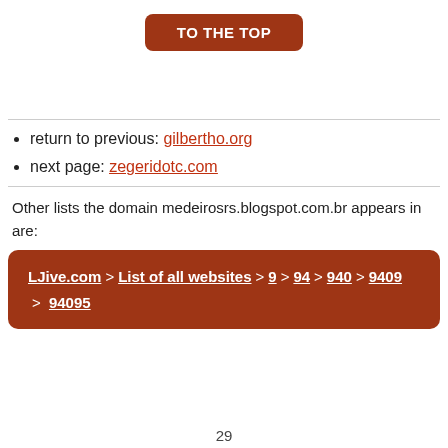[Figure (other): Brown rounded button labeled TO THE TOP]
return to previous: gilbertho.org
next page: zegeridotc.com
Other lists the domain medeirosrs.blogspot.com.br appears in are:
[Figure (other): Breadcrumb navigation box: LJive.com > List of all websites > 9 > 94 > 940 > 9409 > 94095]
29